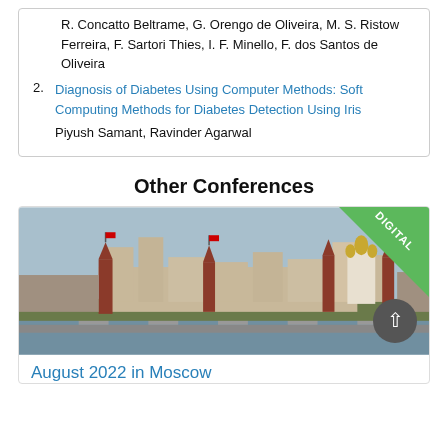R. Concatto Beltrame, G. Orengo de Oliveira, M. S. Ristow Ferreira, F. Sartori Thies, I. F. Minello, F. dos Santos de Oliveira
2. Diagnosis of Diabetes Using Computer Methods: Soft Computing Methods for Diabetes Detection Using Iris
Piyush Samant, Ravinder Agarwal
Other Conferences
[Figure (photo): Photo of Moscow cityscape/Kremlin skyline along a river, with a green 'DIGITAL' badge in the top-right corner and a scroll-up button overlay.]
August 2022 in Moscow